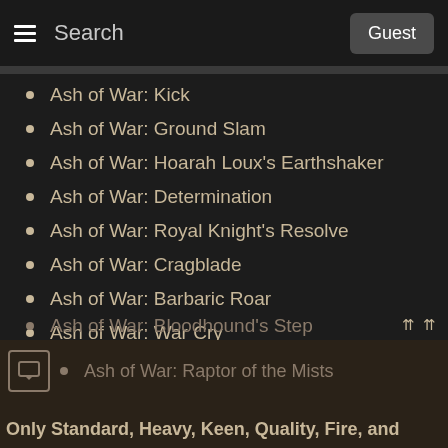Search | Guest
Ash of War: Kick
Ash of War: Ground Slam
Ash of War: Hoarah Loux's Earthshaker
Ash of War: Determination
Ash of War: Royal Knight's Resolve
Ash of War: Cragblade
Ash of War: Barbaric Roar
Ash of War: War Cry
Ash of War: Beast's Roar
Ash of War: Braggart's Roar
Ash of War: Quickstep
Ash of War: Bloodhound's Step
Ash of War: Raptor of the Mists
Only Standard, Heavy, Keen, Quality, Fire, and